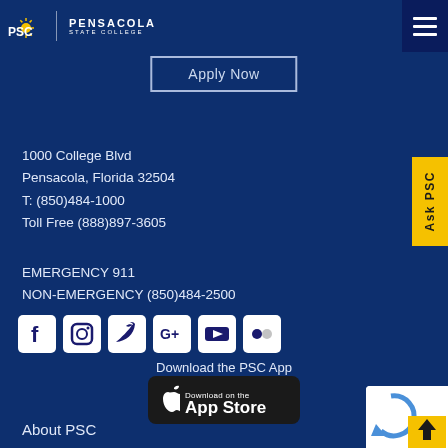PSC | PENSACOLA STATE COLLEGE
Apply Now
1000 College Blvd
Pensacola, Florida 32504
T: (850)484-1000
Toll Free (888)897-3605
EMERGENCY 911
NON-EMERGENCY (850)484-2500
[Figure (illustration): Row of social media icons: Facebook, Instagram, Twitter, Google+, YouTube, Flickr]
Download the PSC App
[Figure (illustration): Download on the App Store badge]
About PSC